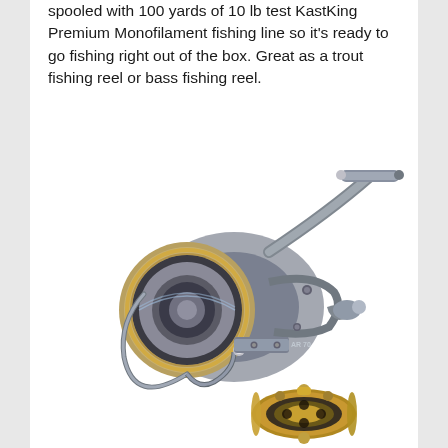spooled with 100 yards of 10 lb test KastKing Premium Monofilament fishing line so it's ready to go fishing right out of the box. Great as a trout fishing reel or bass fishing reel.
[Figure (photo): A KastKing spinning fishing reel in grey and gold/silver metallic finish, shown at an angle with a separate spool component below it.]